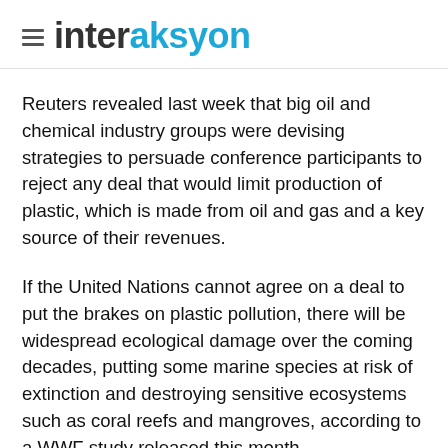interaksyon
Reuters revealed last week that big oil and chemical industry groups were devising strategies to persuade conference participants to reject any deal that would limit production of plastic, which is made from oil and gas and a key source of their revenues.
If the United Nations cannot agree on a deal to put the brakes on plastic pollution, there will be widespread ecological damage over the coming decades, putting some marine species at risk of extinction and destroying sensitive ecosystems such as coral reefs and mangroves, according to a WWF study released this month.
It is likely to take at least two years to finalize any treaty. But whatever is agreed at the Nairobi